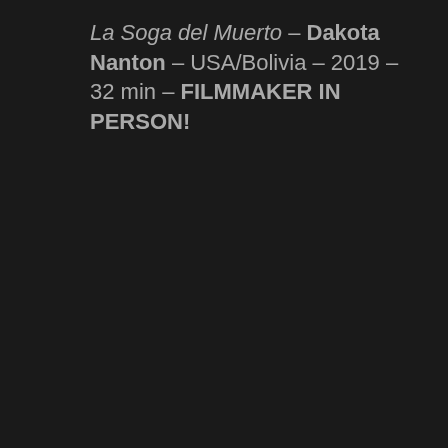La Soga del Muerto – Dakota Nanton – USA/Bolivia – 2019 – 32 min – FILMMAKER IN PERSON!